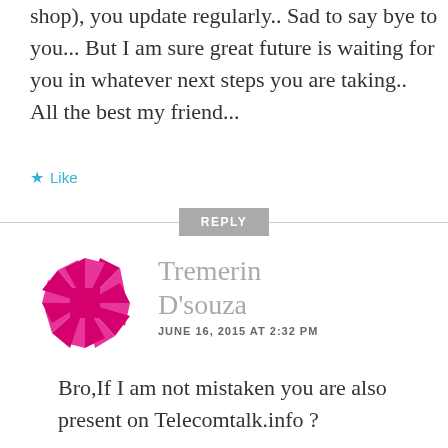shop), you update regularly.. Sad to say bye to you... But I am sure great future is waiting for you in whatever next steps you are taking.. All the best my friend...
Like
REPLY
[Figure (logo): Pink/magenta pinwheel/star avatar logo for Tremerin D'souza]
Tremerin D'souza
JUNE 16, 2015 AT 2:32 PM
Bro,If I am not mistaken you are also present on Telecomtalk.info ?